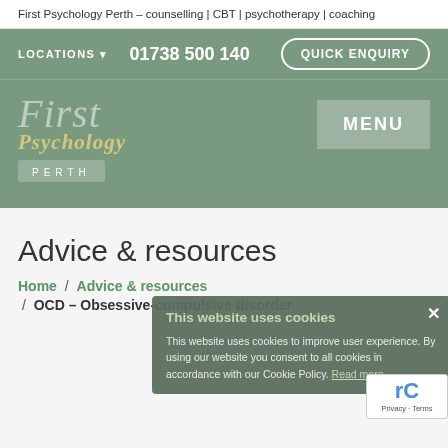First Psychology Perth – counselling | CBT | psychotherapy | coaching
LOCATIONS  01738 500 140  QUICK ENQUIRY
[Figure (logo): First Psychology Perth logo with cursive 'First' in muted white, 'Psychology' in gold italic, and 'PERTH' on a muted green bar. MENU button top right.]
Advice & resources
Home  /  Advice & resources  /  OCD – Obsessive-compulsive disorder
This website uses cookies

This website uses cookies to improve user experience. By using our website you consent to all cookies in accordance with our Cookie Policy. Read more